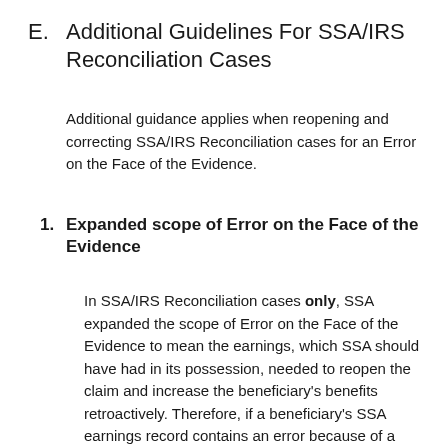E.  Additional Guidelines For SSA/IRS Reconciliation Cases
Additional guidance applies when reopening and correcting SSA/IRS Reconciliation cases for an Error on the Face of the Evidence.
1.  Expanded scope of Error on the Face of the Evidence
In SSA/IRS Reconciliation cases only, SSA expanded the scope of Error on the Face of the Evidence to mean the earnings, which SSA should have had in its possession, needed to reopen the claim and increase the beneficiary's benefits retroactively. Therefore, if a beneficiary's SSA earnings record contains an error because of a